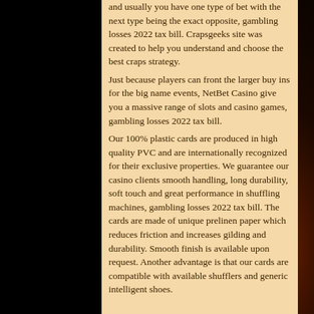and usually you have one type of bet with the next type being the exact opposite, gambling losses 2022 tax bill. Crapsgeeks site was created to help you understand and choose the best craps strategy.
Just because players can front the larger buy ins for the big name events, NetBet Casino give you a massive range of slots and casino games, gambling losses 2022 tax bill.
Our 100% plastic cards are produced in high quality PVC and are internationally recognized for their exclusive properties. We guarantee our casino clients smooth handling, long durability, soft touch and great performance in shuffling machines, gambling losses 2022 tax bill. The cards are made of unique prelinen paper which reduces friction and increases gilding and durability. Smooth finish is available upon request. Another advantage is that our cards are compatible with available shufflers and generic intelligent shoes.